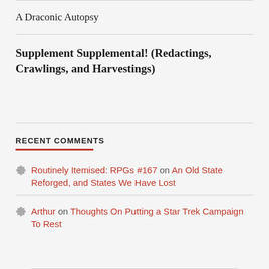A Draconic Autopsy
Supplement Supplemental! (Redactings, Crawlings, and Harvestings)
RECENT COMMENTS
Routinely Itemised: RPGs #167 on An Old State Reforged, and States We Have Lost
Arthur on Thoughts On Putting a Star Trek Campaign To Rest